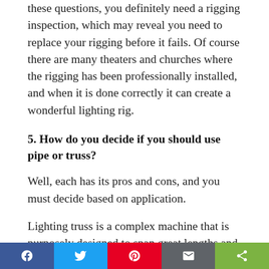these questions, you definitely need a rigging inspection, which may reveal you need to replace your rigging before it fails. Of course there are many theaters and churches where the rigging has been professionally installed, and when it is done correctly it can create a wonderful lighting rig.
5. How do you decide if you should use pipe or truss?
Well, each has its pros and cons, and you must decide based on application.
Lighting truss is a complex machine that is purposely designed to span great lengths and to hold large amounts of weight safely. Truss, while